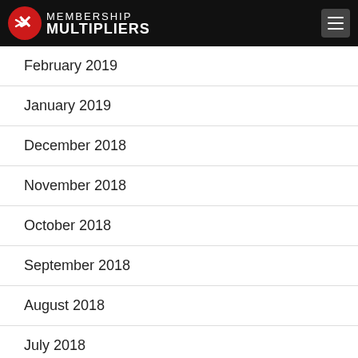Membership Multipliers
February 2019
January 2019
December 2018
November 2018
October 2018
September 2018
August 2018
July 2018
June 2018